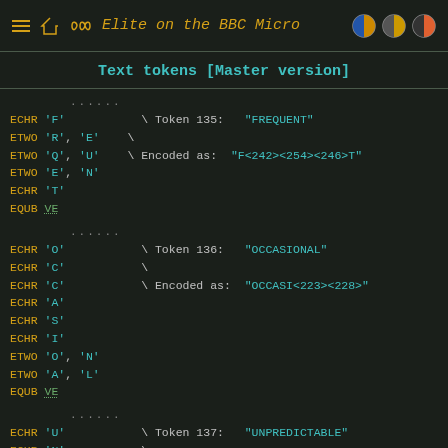Elite on the BBC Micro
Text tokens [Master version]
......
ECHR 'F'	\ Token 135:	"FREQUENT"
ETWO 'R', 'E'	\
ETWO 'Q', 'U'	\ Encoded as:	"F<242><254><246>T"
ETWO 'E', 'N'
ECHR 'T'
EQUB VE
......
ECHR 'O'	\ Token 136:	"OCCASIONAL"
ECHR 'C'	\
ECHR 'C'	\ Encoded as:	"OCCASI<223><228>"
ECHR 'A'
ECHR 'S'
ECHR 'I'
ETWO 'O', 'N'
ETWO 'A', 'L'
EQUB VE
......
ECHR 'U'	\ Token 137:	"UNPREDICTABLE"
ECHR 'N'	\
ECHR 'P'	\ Encoded as:	"UNP<242><241>CT<216><229>"
ETWO 'R', 'E'
ETWO 'D', 'I'
ECHR 'C'